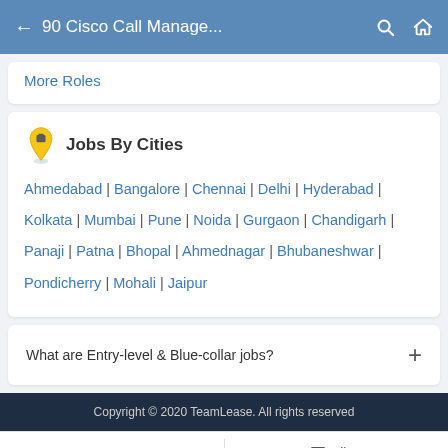90 Cisco Call Manage...
More Roles
Jobs By Cities
Ahmedabad | Bangalore | Chennai | Delhi | Hyderabad | Kolkata | Mumbai | Pune | Noida | Gurgaon | Chandigarh | Panaji | Patna | Bhopal | Ahmednagar | Bhubaneshwar | Pondicherry | Mohali | Jaipur
What are Entry-level & Blue-collar jobs?
Copyright © 2020 TeamLease. All rights reserved